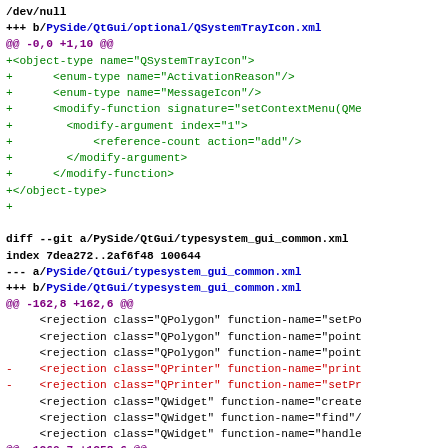/dev/null
+++ b/PySide/QtGui/optional/QSystemTrayIcon.xml
@@ -0,0 +1,10 @@
+<object-type name="QSystemTrayIcon">
+      <enum-type name="ActivationReason"/>
+      <enum-type name="MessageIcon"/>
+      <modify-function signature="setContextMenu(QMe
+        <modify-argument index="1">
+            <reference-count action="add"/>
+        </modify-argument>
+      </modify-function>
+</object-type>
+
diff --git a/PySide/QtGui/typesystem_gui_common.xml
index 7dea272..2af6f48 100644
--- a/PySide/QtGui/typesystem_gui_common.xml
+++ b/PySide/QtGui/typesystem_gui_common.xml
@@ -162,8 +162,6 @@
<rejection class="QPolygon" function-name="setPo
<rejection class="QPolygon" function-name="point
<rejection class="QPolygon" function-name="point
-    <rejection class="QPrinter" function-name="print
-    <rejection class="QPrinter" function-name="setPr
<rejection class="QWidget" function-name="create
<rejection class="QWidget" function-name="find"/
<rejection class="QWidget" function-name="handle
@@ -1260,7 +1258,6 @@
<enum-type name="Type"/>
</value-type>
<value-type name="QLinearGradient" polymorphic